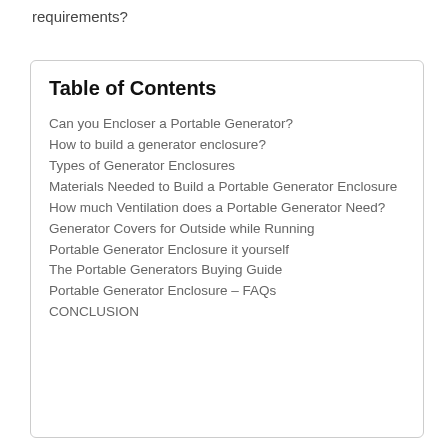requirements?
Table of Contents
Can you Encloser a Portable Generator?
How to build a generator enclosure?
Types of Generator Enclosures
Materials Needed to Build a Portable Generator Enclosure
How much Ventilation does a Portable Generator Need?
Generator Covers for Outside while Running
Portable Generator Enclosure it yourself
The Portable Generators Buying Guide
Portable Generator Enclosure – FAQs
CONCLUSION